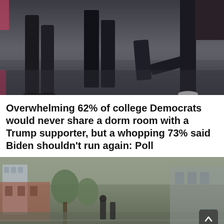[Figure (photo): Photo of people from the legs/lower body down, walking on cobblestone pavement; one person appears to be kneeling. Muted, dark tones.]
Overwhelming 62% of college Democrats would never share a dorm room with a Trump supporter, but a whopping 73% said Biden shouldn't run again: Poll
[Figure (photo): Street scene photo with buildings and trees in a muted, overcast color palette. A scroll-to-top button is visible in the bottom right corner.]